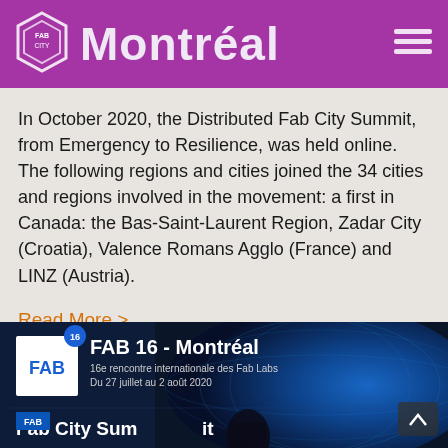Fab City Montréal
In October 2020, the Distributed Fab City Summit, from Emergency to Resilience, was held online. The following regions and cities joined the 34 cities and regions involved in the movement: a first in Canada: the Bas-Saint-Laurent Region, Zadar City (Croatia), Valence Romans Agglo (France) and LINZ (Austria).
Read More >
[Figure (photo): FAB 16 - Montréal event photo showing a presentation screen with text 'FAB 16 - Montréal, 16e rencontre internationale des Fab Labs, Du 27 juillet au 2 août 2020' and 'Fab City Summit' with a globe background and a presenter silhouette]